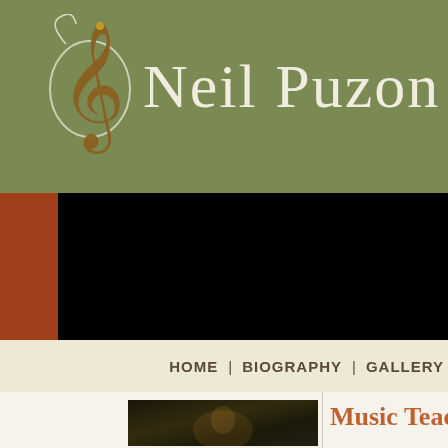Neil Puzon
[Figure (screenshot): Black video/media player area embedded in website]
HOME | BIOGRAPHY | GALLERY
Music Teach